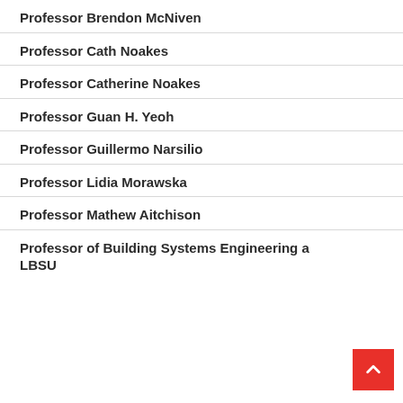Professor Brendon McNiven
Professor Cath Noakes
Professor Catherine Noakes
Professor Guan H. Yeoh
Professor Guillermo Narsilio
Professor Lidia Morawska
Professor Mathew Aitchison
Professor of Building Systems Engineering a… LBSU